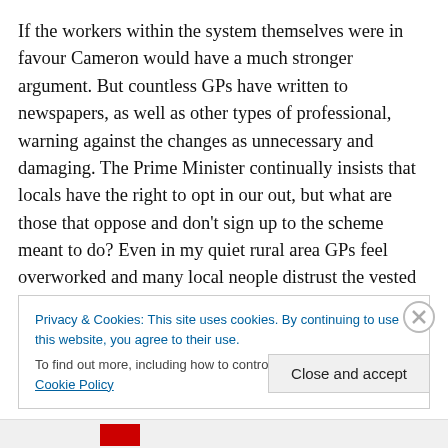If the workers within the system themselves were in favour Cameron would have a much stronger argument. But countless GPs have written to newspapers, as well as other types of professional, warning against the changes as unnecessary and damaging. The Prime Minister continually insists that locals have the right to opt in our out, but what are those that oppose and don't sign up to the scheme meant to do? Even in my quiet rural area GPs feel overworked and many local neople distrust the vested
Privacy & Cookies: This site uses cookies. By continuing to use this website, you agree to their use.
To find out more, including how to control cookies, see here: Cookie Policy
Close and accept